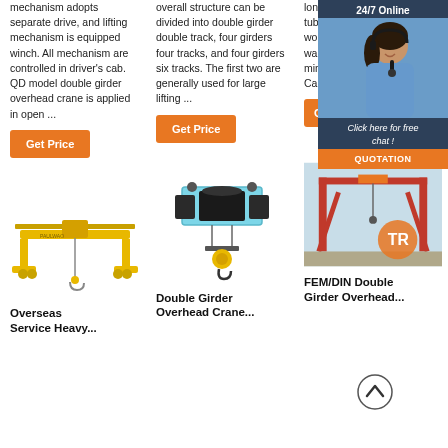mechanism adopts separate drive, and lifting mechanism is equipped winch. All mechanism are controlled in driver's cab. QD model double girder overhead crane is applied in open ...
overall structure can be divided into double girder double track, four girders four tracks, and four girders six tracks. The first two are generally used for large lifting ...
long materials (wood, paper tube, pipe and bar) in workshop or open warehouse in industrial and mining industries. Lifting Capacity... Span Le...
[Figure (photo): Yellow overhead bridge crane product photo]
[Figure (photo): Double girder overhead crane hoist unit photo]
[Figure (photo): FEM/DIN Double Girder Overhead gantry crane photo]
[Figure (illustration): 24/7 Online chat widget with customer service representative photo and QUOTATION button]
Overseas Service Heavy...
Double Girder Overhead Crane...
FEM/DIN Double Girder Overhead...